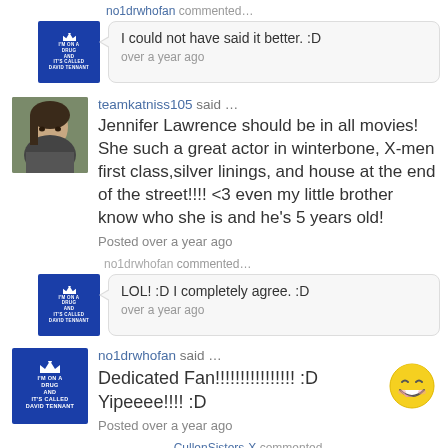no1drwhofan commented...
I could not have said it better. :D
over a year ago
teamkatniss105 said ...
Jennifer Lawrence should be in all movies! She such a great actor in winterbone, X-men first class,silver linings, and house at the end of the street!!!! <3 even my little brother know who she is and he's 5 years old!
Posted over a year ago
no1drwhofan commented...
LOL! :D I completely agree. :D
over a year ago
no1drwhofan said ...
Dedicated Fan!!!!!!!!!!!!!!!! :D Yipeeee!!!! :D
Posted over a year ago
CullenSisters-X commented...